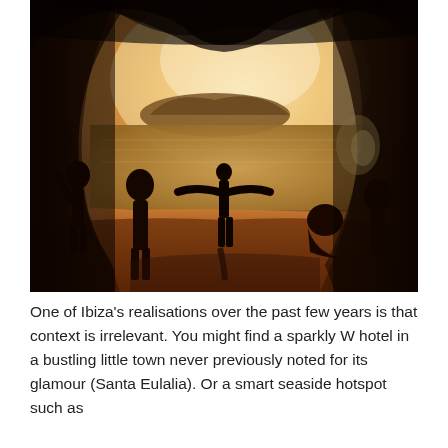[Figure (photo): Photo of silhouetted people inside a sea cave opening at sunset. A central figure stands with arms outstretched facing the ocean. A rocky island is visible in the background across golden-lit water. The cave walls and foreground are illuminated in warm amber tones.]
One of Ibiza's realisations over the past few years is that context is irrelevant. You might find a sparkly W hotel in a bustling little town never previously noted for its glamour (Santa Eulalia). Or a smart seaside hotspot such as